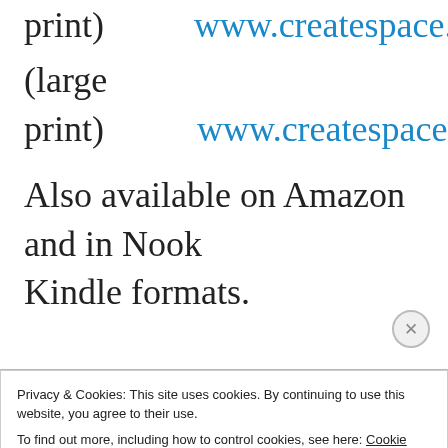print) www.createspace.com/...
(large print) www.createspace.com...
Also available on Amazon and in Nook Kindle formats.
Privacy & Cookies: This site uses cookies. By continuing to use this website, you agree to their use.
To find out more, including how to control cookies, see here: Cookie Policy
Close and accept